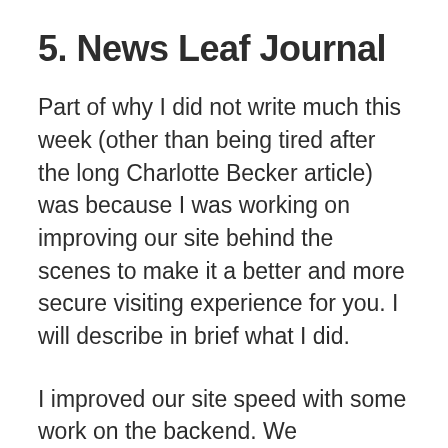5. News Leaf Journal
Part of why I did not write much this week (other than being tired after the long Charlotte Becker article) was because I was working on improving our site behind the scenes to make it a better and more secure visiting experience for you. I will describe in brief what I did.
I improved our site speed with some work on the backend. We